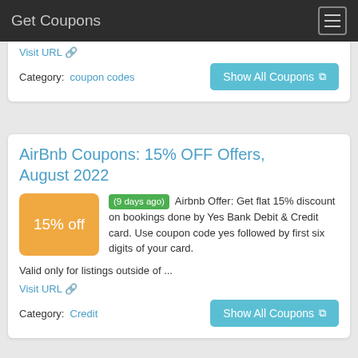Get Coupons
Visit URL
Category:  coupon codes
AirBnb Coupons: 15% OFF Offers, August 2022
(9 days ago) Airbnb Offer: Get flat 15% discount on bookings done by Yes Bank Debit & Credit card. Use coupon code yes followed by first six digits of your card. Valid only for listings outside of ...
Visit URL
Category:  Credit